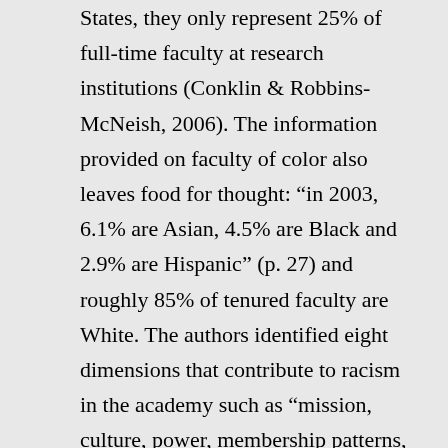States, they only represent 25% of full-time faculty at research institutions (Conklin & Robbins-McNeish, 2006). The information provided on faculty of color also leaves food for thought: “in 2003, 6.1% are Asian, 4.5% are Black and 2.9% are Hispanic” (p. 27) and roughly 85% of tenured faculty are White. The authors identified eight dimensions that contribute to racism in the academy such as “mission, culture, power, membership patterns, social climate and relations, technology, resources, and boundaries” all of which “hold an organization together and can become a powerful tool for change if those in power take effective action” (pp. 28–29). The authors then offer ideas